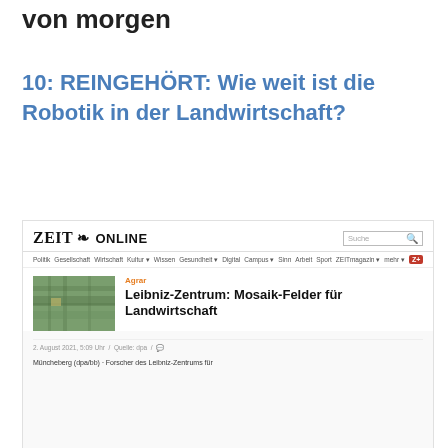von morgen
10: REINGEHÖRT: Wie weit ist die Robotik in der Landwirtschaft?
[Figure (screenshot): Screenshot of Zeit Online website showing an article: 'Leibniz-Zentrum: Mosaik-Felder für Landwirtschaft' in the Agrar category, dated 2. August 2021, 5:09 Uhr, Quelle: dpa, with a thumbnail image of agricultural fields from above. Partial body text: 'Müncheberg (dpa/bb) - Forscher des Leibniz-Zentrums für']